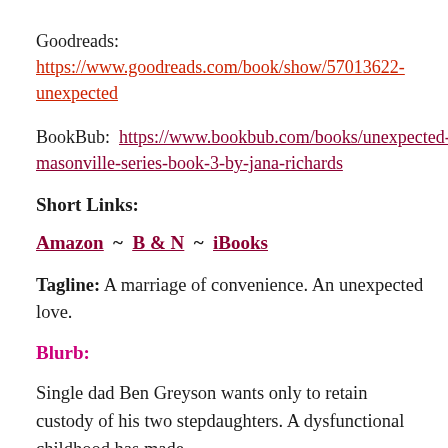Goodreads: https://www.goodreads.com/book/show/57013622-unexpected
BookBub: https://www.bookbub.com/books/unexpected-masonville-series-book-3-by-jana-richards
Short Links:
Amazon ~ B & N ~ iBooks
Tagline: A marriage of convenience. An unexpected love.
Blurb:
Single dad Ben Greyson wants only to retain custody of his two stepdaughters. A dysfunctional childhood has made